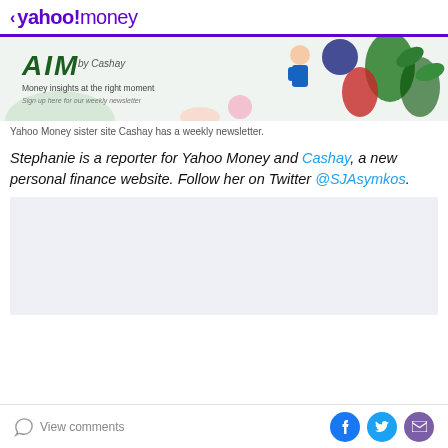< yahoo!money
[Figure (illustration): Banner image for AIM by Cashay newsletter with illustration of people and tropical plants. Text reads 'Money insights at the right moment' and 'Sign up here for our weekly newsletter']
Yahoo Money sister site Cashay has a weekly newsletter.
Stephanie is a reporter for Yahoo Money and Cashay, a new personal finance website. Follow her on Twitter @SJAsymkos.
[Figure (other): Advertisement placeholder box (light grey background)]
View comments | Share on Facebook, Twitter, Email